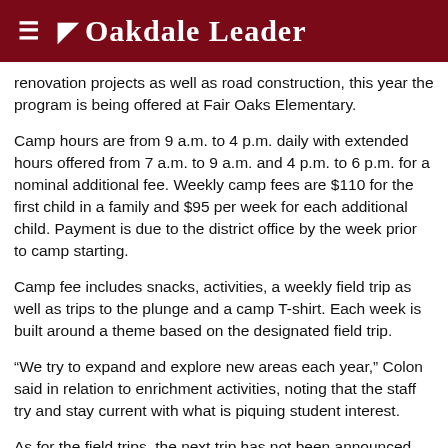Oakdale Leader
renovation projects as well as road construction, this year the program is being offered at Fair Oaks Elementary.
Camp hours are from 9 a.m. to 4 p.m. daily with extended hours offered from 7 a.m. to 9 a.m. and 4 p.m. to 6 p.m. for a nominal additional fee. Weekly camp fees are $110 for the first child in a family and $95 per week for each additional child. Payment is due to the district office by the week prior to camp starting.
Camp fee includes snacks, activities, a weekly field trip as well as trips to the plunge and a camp T-shirt. Each week is built around a theme based on the designated field trip.
“We try to expand and explore new areas each year,” Colon said in relation to enrichment activities, noting that the staff try and stay current with what is piquing student interest.
As for the field trips, the next trip has not been announced and